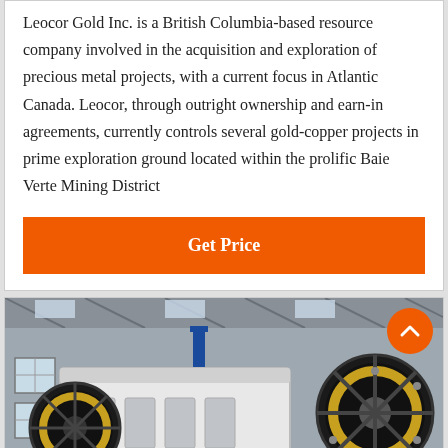Leocor Gold Inc. is a British Columbia-based resource company involved in the acquisition and exploration of precious metal projects, with a current focus in Atlantic Canada. Leocor, through outright ownership and earn-in agreements, currently controls several gold-copper projects in prime exploration ground located within the prolific Baie Verte Mining District
[Figure (other): Orange 'Get Price' button]
[Figure (photo): Industrial factory interior showing large mining/crushing machinery with black flywheels and white housing, inside a warehouse with steel beams and windows. An orange scroll-to-top button overlays the top-right corner.]